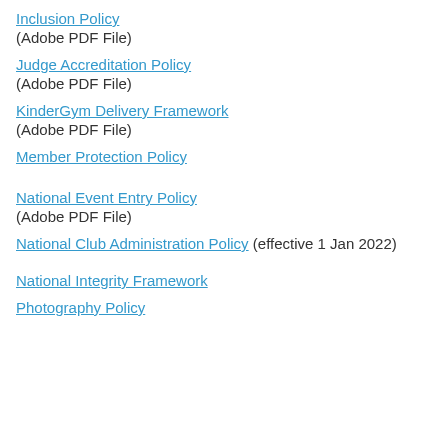Inclusion Policy
(Adobe PDF File)
Judge Accreditation Policy
(Adobe PDF File)
KinderGym Delivery Framework
(Adobe PDF File)
Member Protection Policy
National Event Entry Policy
(Adobe PDF File)
National Club Administration Policy (effective 1 Jan 2022)
National Integrity Framework
Photography Policy